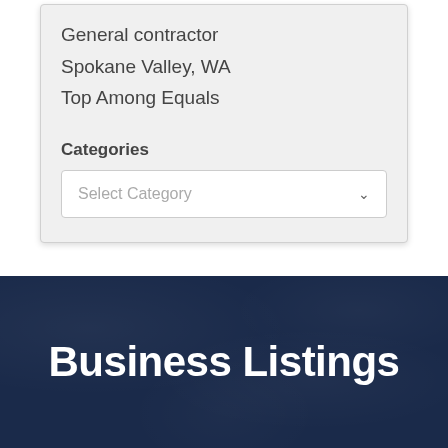General contractor
Spokane Valley, WA
Top Among Equals
Categories
Select Category
Business Listings